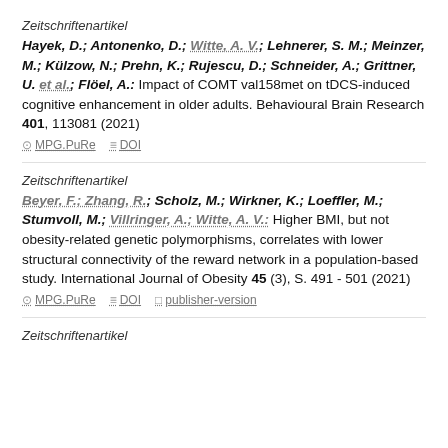Zeitschriftenartikel
Hayek, D.; Antonenko, D.; Witte, A. V.; Lehnerer, S. M.; Meinzer, M.; Külzow, N.; Prehn, K.; Rujescu, D.; Schneider, A.; Grittner, U. et al.; Flöel, A.: Impact of COMT val158met on tDCS-induced cognitive enhancement in older adults. Behavioural Brain Research 401, 113081 (2021)
MPG.PuRe   DOI
Zeitschriftenartikel
Beyer, F.; Zhang, R.; Scholz, M.; Wirkner, K.; Loeffler, M.; Stumvoll, M.; Villringer, A.; Witte, A. V.: Higher BMI, but not obesity-related genetic polymorphisms, correlates with lower structural connectivity of the reward network in a population-based study. International Journal of Obesity 45 (3), S. 491 - 501 (2021)
MPG.PuRe   DOI   publisher-version
Zeitschriftenartikel